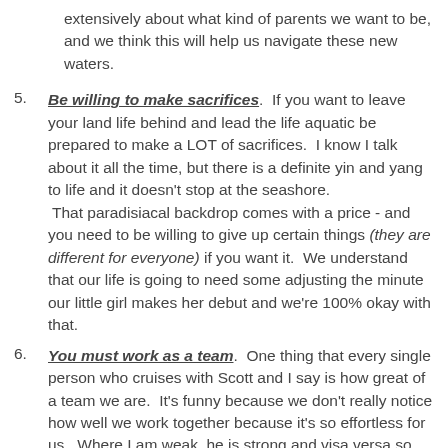extensively about what kind of parents we want to be, and we think this will help us navigate these new waters.
Be willing to make sacrifices. If you want to leave your land life behind and lead the life aquatic be prepared to make a LOT of sacrifices. I know I talk about it all the time, but there is a definite yin and yang to life and it doesn't stop at the seashore. That paradisiacal backdrop comes with a price - and you need to be willing to give up certain things (they are different for everyone) if you want it. We understand that our life is going to need some adjusting the minute our little girl makes her debut and we're 100% okay with that.
You must work as a team. One thing that every single person who cruises with Scott and I say is how great of a team we are. It's funny because we don't really notice how well we work together because it's so effortless for us. Where I am weak, he is strong and visa versa so there is a very natural balance between us. While teamwork is essential for a successful cruising relationship, we're guessing there is no place